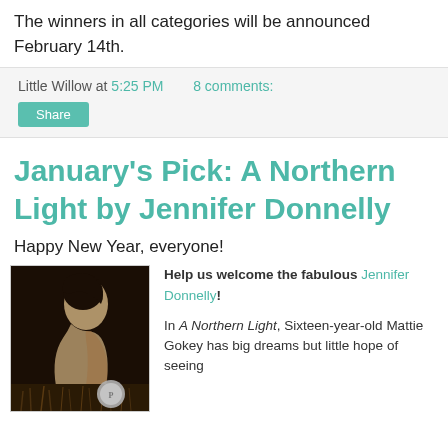The winners in all categories will be announced February 14th.
Little Willow at 5:25 PM    8 comments:
Share
January’s Pick: A Northern Light by Jennifer Donnelly
Happy New Year, everyone!
[Figure (photo): Book cover of A Northern Light showing a woman in profile against a dark background, with a circular award medallion at the bottom.]
Help us welcome the fabulous Jennifer Donnelly!
In A Northern Light, Sixteen-year-old Mattie Gokey has big dreams but little hope of seeing